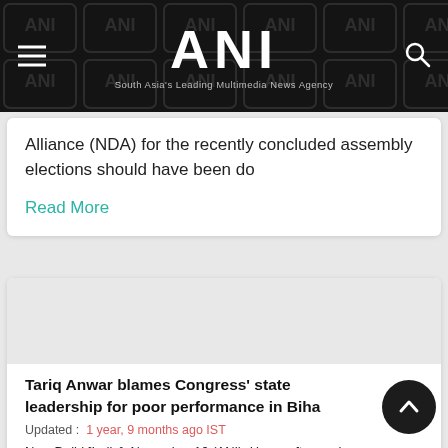ANI — South Asia's Leading Multimedia News Agency
Alliance (NDA) for the recently concluded assembly elections should have been do
Read More
Tariq Anwar blames Congress' state leadership for poor performance in Biha
Updated : 1 year, 9 months ago IST
New Delhi [India], November 16 (ANI): Hours after senior